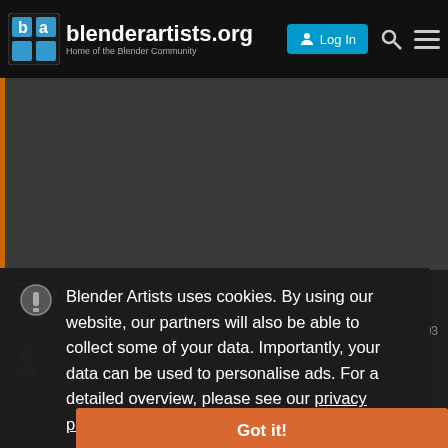blenderartists.org — Home of the Blender Community | Log In
[Figure (screenshot): Dark gray banner/image area with orange left border, background of the forum page]
Sound
support • blah
Aug 2003
[Figure (photo): User avatar circle]
I would like to add sound to my animation.
I'm using latest version 228, sound doesn't work.- properly
I read a post here about this problem (can't find it now)
But I remember he got a curt reply.
Blender Artists uses cookies. By using our website, our partners will also be able to collect some of your data. Importantly, your data can be used to personalise ads. For a detailed overview, please see our privacy policy page.
Got it!
1 / 5